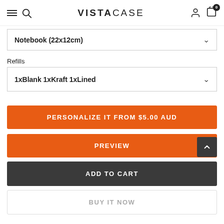VISTACASE
Notebook (22x12cm)
Refills
1xBlank 1xKraft 1xLined
PERSONALIZE IT FROM $5.00 AUD
PREVIEW
ADD TO CART
BUY IT NOW